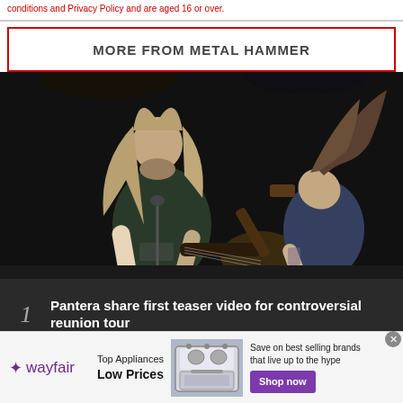conditions and Privacy Policy and are aged 16 or over.
MORE FROM METAL HAMMER
[Figure (photo): Two long-haired metal guitarists performing on stage, headbanging, with guitars, dark background, concert setting.]
1  Pantera share first teaser video for controversial reunion tour
2  Machine Head's Of Kingdom And Crown: Robb
[Figure (infographic): Wayfair advertisement banner: Top Appliances Low Prices, image of a stove/range appliance, Save on best selling brands that live up to the hype, Shop now button.]